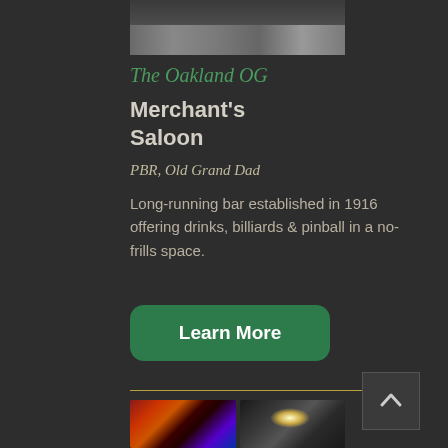[Figure (photo): Partial street scene photo at top of card, showing building exterior]
The Oakland OG
Merchant's Saloon
PBR, Old Grand Dad
Long-running bar established in 1916 offering drinks, billiards & pinball in a no-frills space.
Learn More
[Figure (photo): Two photos side by side at bottom: left shows colorful bar interior with red/blue lighting, right shows black and white bar interior with chandelier]